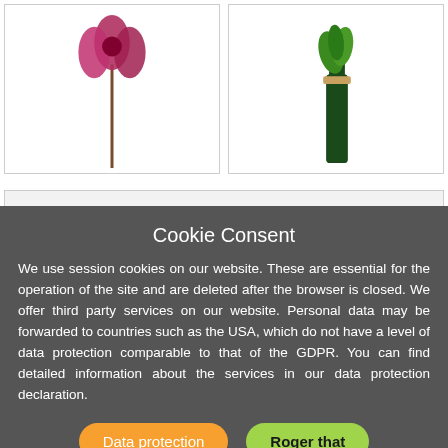[Figure (photo): Product image: red flower/plant on a stem against white background]
[Figure (photo): Product image: green herbs or plant with a bottle, against white background]
☆ OFFERS
Cookie Consent
We use session cookies on our website. These are essential for the operation of the site and are deleted after the browser is closed. We offer third party services on our website. Personal data may be forwarded to countries such as the USA, which do not have a level of data protection comparable to that of the GDPR. You can find detailed information about the services in our data protection declaration.
Data protection
Roger that